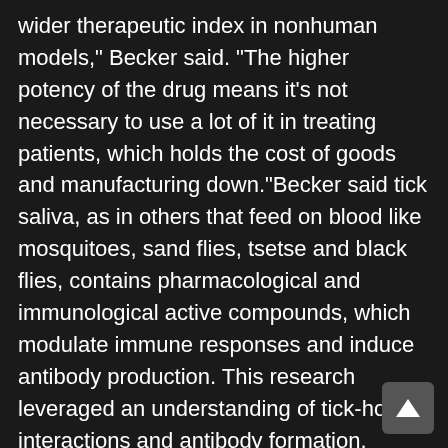wider therapeutic index in nonhuman models," Becker said. "The higher potency of the drug means it's not necessary to use a lot of it in treating patients, which holds the cost of goods and manufacturing down."Becker said tick saliva, as in others that feed on blood like mosquitoes, sand flies, tsetse and black flies, contains pharmacological and immunological active compounds, which modulate immune responses and induce antibody production. This research leveraged an understanding of tick-host interactions and antibody formation.
"The holy grail of anticoagulant therapy has always been specificity, selectivity, efficacy and safety," said Becker. "Clinician-scientists must have the training and an environment that